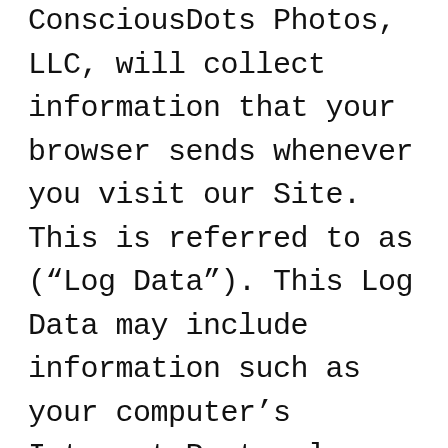ConsciousDots Photos, LLC, will collect information that your browser sends whenever you visit our Site. This is referred to as (“Log Data”). This Log Data may include information such as your computer’s Internet Protocol (“IP”) address, browser type, browser version, the pages of our Site that you visit, the time and date of your visit, the time spent on those pages and other statistics.